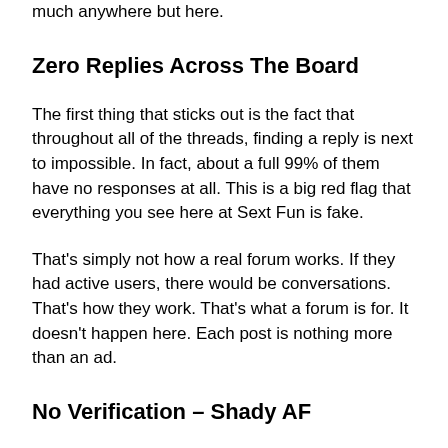much anywhere but here.
Zero Replies Across The Board
The first thing that sticks out is the fact that throughout all of the threads, finding a reply is next to impossible. In fact, about a full 99% of them have no responses at all. This is a big red flag that everything you see here at Sext Fun is fake.
That's simply not how a real forum works. If they had active users, there would be conversations. That's how they work. That's what a forum is for. It doesn't happen here. Each post is nothing more than an ad.
No Verification – Shady AF